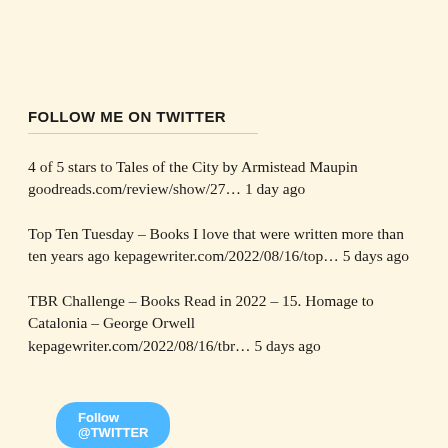FOLLOW ME ON TWITTER
4 of 5 stars to Tales of the City by Armistead Maupin goodreads.com/review/show/27… 1 day ago
Top Ten Tuesday – Books I love that were written more than ten years ago kepagewriter.com/2022/08/16/top… 5 days ago
TBR Challenge – Books Read in 2022 – 15. Homage to Catalonia – George Orwell kepagewriter.com/2022/08/16/tbr… 5 days ago